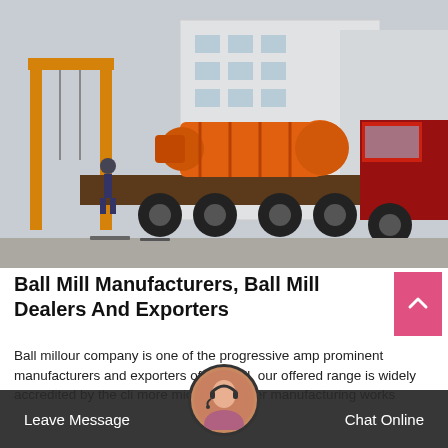[Figure (photo): A large orange ball mill mounted on a flatbed truck in an industrial yard. A yellow crane gantry is visible on the left. A large red truck cab is on the right. Industrial buildings are in the background. A worker stands near the truck.]
Ball Mill Manufacturers, Ball Mill Dealers And Exporters
Ball millour company is one of the progressive amp prominent manufacturers and exporters of ball mill. our offered range is widely accredited by the cli more micro pulverizer manufacturing works
Leave Message  Chat Online